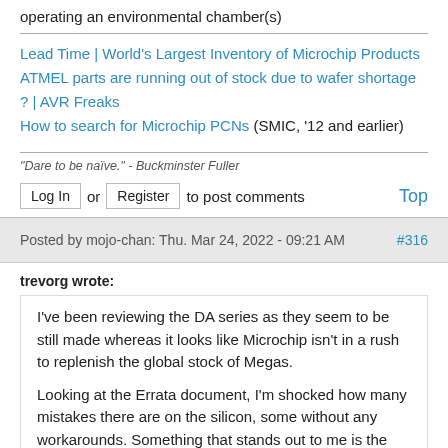operating an environmental chamber(s)
Lead Time | World's Largest Inventory of Microchip Products
ATMEL parts are running out of stock due to wafer shortage ? | AVR Freaks
How to search for Microchip PCNs (SMIC, '12 and earlier)
"Dare to be naïve." - Buckminster Fuller
Log In or Register to post comments  Top
Posted by mojo-chan: Thu. Mar 24, 2022 - 09:21 AM  #316
trevorg wrote:
I've been reviewing the DA series as they seem to be still made whereas it looks like Microchip isn't in a rush to replenish the global stock of Megas.

Looking at the Errata document, I'm shocked how many mistakes there are on the silicon, some without any workarounds. Something that stands out to me is the flash endurance. The datasheet rates the flash endurance at 10,000 cycles, consistent